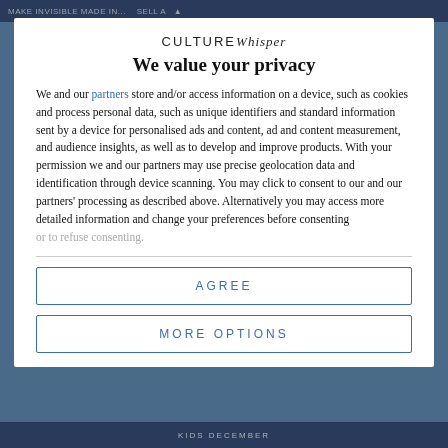MAKE INVISIBLE MADE IN... SELL A
CULTUREWhisper
We value your privacy
We and our partners store and/or access information on a device, such as cookies and process personal data, such as unique identifiers and standard information sent by a device for personalised ads and content, ad and content measurement, and audience insights, as well as to develop and improve products. With your permission we and our partners may use precise geolocation data and identification through device scanning. You may click to consent to our and our partners' processing as described above. Alternatively you may access more detailed information and change your preferences before consenting or to refuse consenting.
AGREE
MORE OPTIONS
KIDS DECEMBER